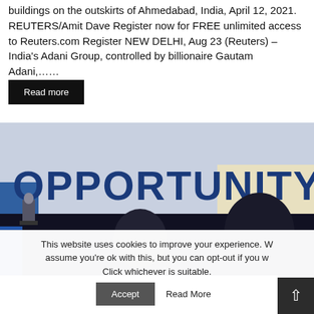buildings on the outskirts of Ahmedabad, India, April 12, 2021. REUTERS/Amit Dave Register now for FREE unlimited access to Reuters.com Register NEW DELHI, Aug 23 (Reuters) – India's Adani Group, controlled by billionaire Gautam Adani,......
[Figure (photo): Conference hall scene with the word OPPORTUNITY displayed prominently in large blue letters on a banner/screen. Attendees viewed from behind in the foreground, with a speaker visible at a podium in the background.]
This website uses cookies to improve your experience. We assume you're ok with this, but you can opt-out if you w... Click whichever is suitable.